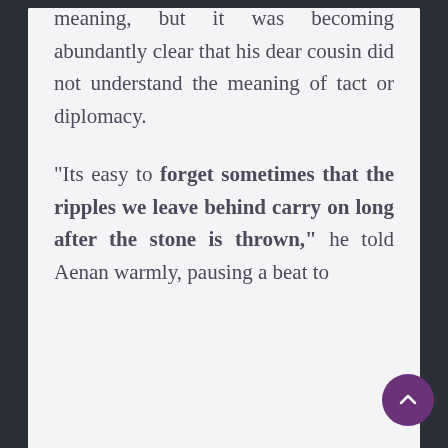meaning, but it was becoming abundantly clear that his dear cousin did not understand the meaning of tact or diplomacy.
"Its easy to forget sometimes that the ripples we leave behind carry on long after the stone is thrown," he told Aenan warmly, pausing a beat to